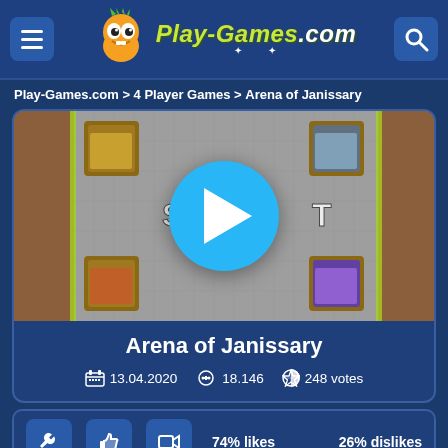Play-Games.com
Play-Games.com > 4 Player Games > Arena of Janissary
[Figure (screenshot): Arena of Janissary game screenshot with play button overlay showing a top-down battle arena game]
Arena of Janissary
13.04.2020  18.146  248 votes
74% likes  26% dislikes